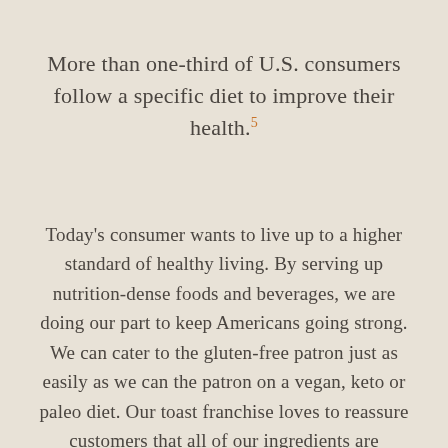More than one-third of U.S. consumers follow a specific diet to improve their health.⁵
Today's consumer wants to live up to a higher standard of healthy living. By serving up nutrition-dense foods and beverages, we are doing our part to keep Americans going strong. We can cater to the gluten-free patron just as easily as we can the patron on a vegan, keto or paleo diet. Our toast franchise loves to reassure customers that all of our ingredients are responsibly sourced, so they can feel great about